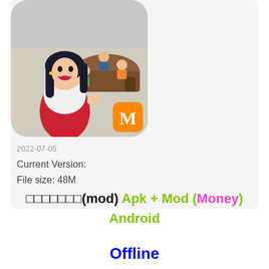[Figure (screenshot): App icon for a restaurant management game showing a female waitress character in a red apron with a restaurant scene in the background, with an orange M logo in the bottom right corner]
2022-07-05
Current Version:
File size: 48M
□□□□□□□(mod) Apk + Mod (Money) Android
Offline